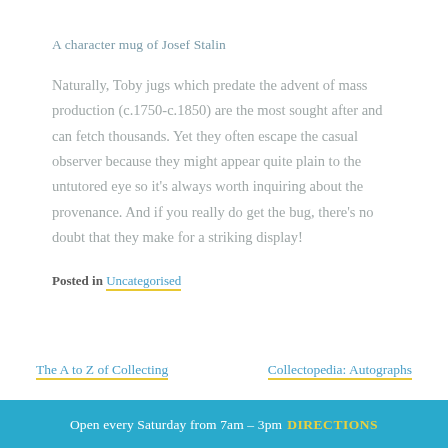A character mug of Josef Stalin
Naturally, Toby jugs which predate the advent of mass production (c.1750-c.1850) are the most sought after and can fetch thousands. Yet they often escape the casual observer because they might appear quite plain to the untutored eye so it's always worth inquiring about the provenance. And if you really do get the bug, there's no doubt that they make for a striking display!
Posted in Uncategorised
The A to Z of Collecting
Collectopedia: Autographs
Open every Saturday from 7am – 3pm DIRECTIONS